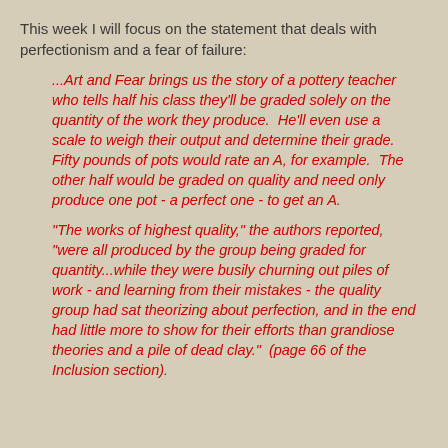This week I will focus on the statement that deals with perfectionism and a fear of failure:
...Art and Fear brings us the story of a pottery teacher who tells half his class they'll be graded solely on the quantity of the work they produce.  He'll even use a scale to weigh their output and determine their grade.  Fifty pounds of pots would rate an A, for example.  The other half would be graded on quality and need only produce one pot - a perfect one - to get an A.
"The works of highest quality," the authors reported, "were all produced by the group being graded for quantity...while they were busily churning out piles of work - and learning from their mistakes - the quality group had sat theorizing about perfection, and in the end had little more to show for their efforts than grandiose theories and a pile of dead clay."  (page 66 of the Inclusion section).